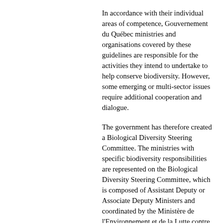In accordance with their individual areas of competence, Gouvernement du Québec ministries and organisations covered by these guidelines are responsible for the activities they intend to undertake to help conserve biodiversity. However, some emerging or multi-sector issues require additional cooperation and dialogue.
The government has therefore created a Biological Diversity Steering Committee. The ministries with specific biodiversity responsibilities are represented on the Biological Diversity Steering Committee, which is composed of Assistant Deputy or Associate Deputy Ministers and coordinated by the Ministère de l'Environnement et de la Lutte contre les changements climatiques (MELCC). In particular, the steering committee is responsible for ensuring that government guidelines are taken into account and incorporated into ministerial and organizational activities.
Report on Gouvernment du Québec 2011-2020 biodiversity action